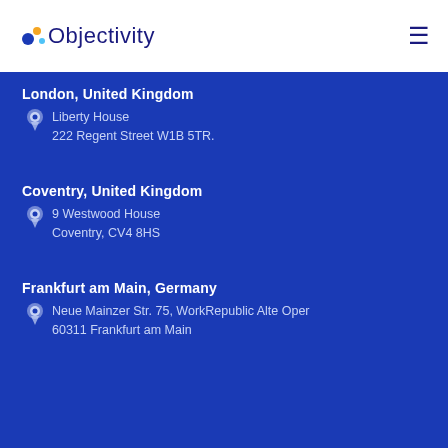[Figure (logo): Objectivity company logo with colored dots and blue text]
London, United Kingdom
Liberty House
222 Regent Street W1B 5TR.
Coventry, United Kingdom
9 Westwood House
Coventry, CV4 8HS
Frankfurt am Main, Germany
Neue Mainzer Str. 75, WorkRepublic Alte Oper
60311 Frankfurt am Main